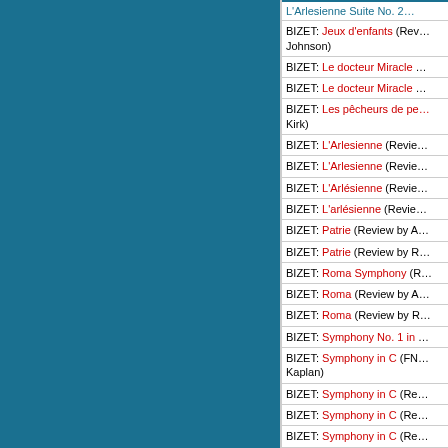L'Arlesienne Suite No. 2…
BIZET: Jeux d'enfants (Rev… Johnson)
BIZET: Le docteur Miracle …
BIZET: Le docteur Miracle …
BIZET: Les pêcheurs de pe… Kirk)
BIZET: L'Arlesienne (Revie…
BIZET: L'Arlesienne (Revie…
BIZET: L'Arlésienne (Revie…
BIZET: L'arlésienne (Revie…
BIZET: Patrie (Review by A…
BIZET: Patrie (Review by R…
BIZET: Roma Symphony (R…
BIZET: Roma (Review by A…
BIZET: Roma (Review by R…
BIZET: Symphony No. 1 in …
BIZET: Symphony in C (FN… Kaplan)
BIZET: Symphony in C (Re…
BIZET: Symphony in C (Re…
BIZET: Symphony in C (Re…
BIZET: Symphony in C, L'a…